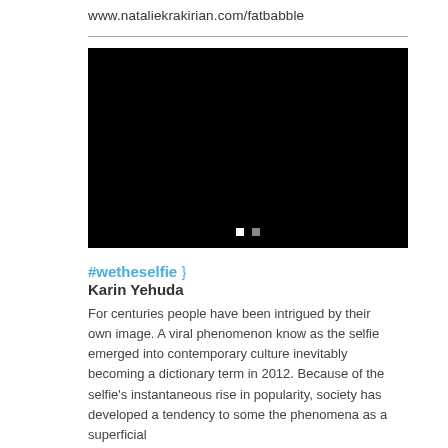www.nataliekrakirian.com/fatbabble
[Figure (photo): Black image/video placeholder with two small navigation dots (white and gray) at the bottom center]
#wetheselfie } Karin Yehuda
For centuries people have been intrigued by their own image. A viral phenomenon know as the selfie emerged into contemporary culture inevitably becoming a dictionary term in 2012. Because of the selfie’s instantaneous rise in popularity, society has developed a tendency to some the phenomena as a superficial